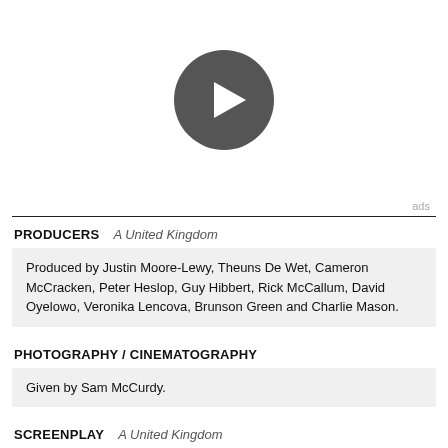[Figure (other): Video player placeholder with a dark circular play button icon on white background]
ads
PRODUCERS   A United Kingdom
Produced by Justin Moore-Lewy, Theuns De Wet, Cameron McCracken, Peter Heslop, Guy Hibbert, Rick McCallum, David Oyelowo, Veronika Lencova, Brunson Green and Charlie Mason.
PHOTOGRAPHY / CINEMATOGRAPHY
Given by Sam McCurdy.
SCREENPLAY   A United Kingdom